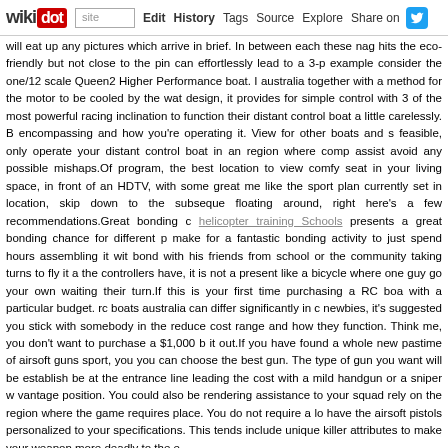wikidot | site | Edit | History | Tags | Source | Explore | Share on [Twitter]
will eat up any pictures which arrive in brief. In between each these nag hits the eco-friendly but not close to the pin can effortlessly lead to a 3-p example consider the one/12 scale Queen2 Higher Performance boat. I australia together with a method for the motor to be cooled by the wat design, it provides for simple control with 3 of the most powerful racing inclination to function their distant control boat a little carelessly. B encompassing and how you're operating it. View for other boats and s feasible, only operate your distant control boat in an region where comp assist avoid any possible mishaps.Of program, the best location to view comfy seat in your living space, in front of an HDTV, with some great me like the sport plan currently set in location, skip down to the subseque floating around, right here's a few recommendations.Great bonding c helicopter training Schools presents a great bonding chance for different p make for a fantastic bonding activity to just spend hours assembling it wit bond with his friends from school or the community taking turns to fly it a the controllers have, it is not a present like a bicycle where one guy go your own waiting their turn.If this is your first time purchasing a RC boa with a particular budget. rc boats australia can differ significantly in c newbies, it's suggested you stick with somebody in the reduce cost range and how they function. Think me, you don't want to purchase a $1,000 b it out.If you have found a whole new pastime of airsoft guns sport, you you can choose the best gun. The type of gun you want will be establish be at the entrance line leading the cost with a mild handgun or a sniper w vantage position. You could also be rendering assistance to your squad rely on the region where the game requires place. You do not require a lo have the airsoft pistols personalized to your specifications. This tends include unique killer attributes to make your weapon more deadly to the e
Having Fun With An Indoor Rc Helicopter - 7 Oc